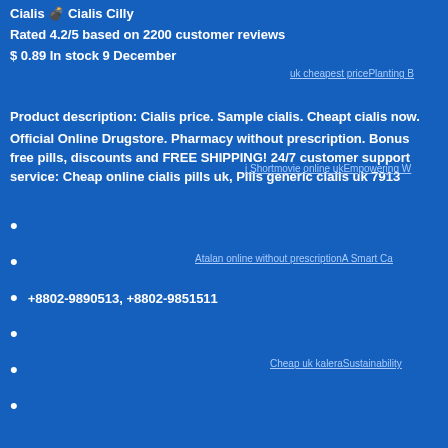Cialis — Cialis Cilly
Rated 4.2/5 based on 2200 customer reviews
$ 0.89 In stock 9 December
Product description: Cialis price. Sample cialis. Cheapt cialis now.
Official Online Drugstore. Pharmacy without prescription. Bonus free pills, discounts and FREE SHIPPING! 24/7 customer support service: Cheap online cialis pills uk, Pills generic cialis uk 7913
A Smart Ca…
+8802-9890513, +8802-9851511
Sustainability…